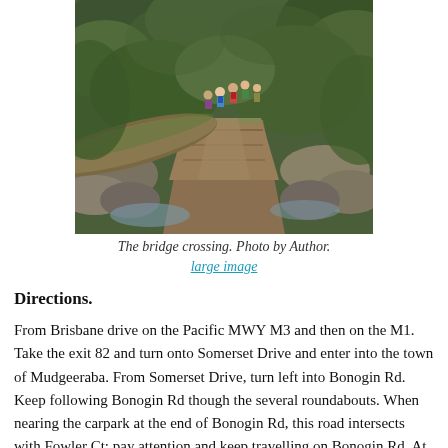[Figure (photo): A group of hikers crossing a mossy log bridge over a creek in a lush green forest]
The bridge crossing. Photo by Author.
large image
Directions.
From Brisbane drive on the Pacific MWY M3 and then on the M1. Take the exit 82 and turn onto Somerset Drive and enter into the town of Mudgeeraba. From Somerset Drive, turn left into Bonogin Rd. Keep following Bonogin Rd though the several roundabouts. When nearing the carpark at the end of Bonogin Rd, this road intersects with Fowler Ct; pay attention and keep travelling on Bonogin Rd. At the end of Bonogin Rd, there is enough room for parking your car.